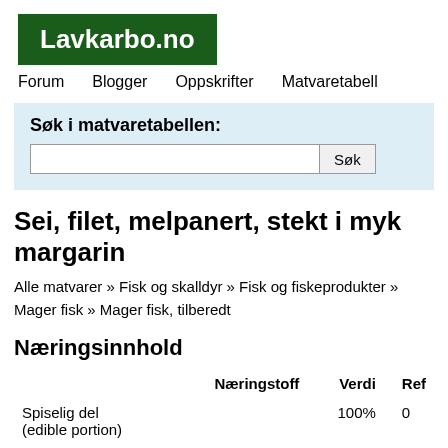Lavkarbo.no
Forum   Blogger   Oppskrifter   Matvaretabell
Søk i matvaretabellen:
Sei, filet, melpanert, stekt i myk margarin
Alle matvarer » Fisk og skalldyr » Fisk og fiskeprodukter » Mager fisk » Mager fisk, tilberedt
Næringsinnhold
| Næringstoff | Verdi | Ref |
| --- | --- | --- |
| Spiselig del (edible portion) | 100% | 0 |
| Vann |  |  |